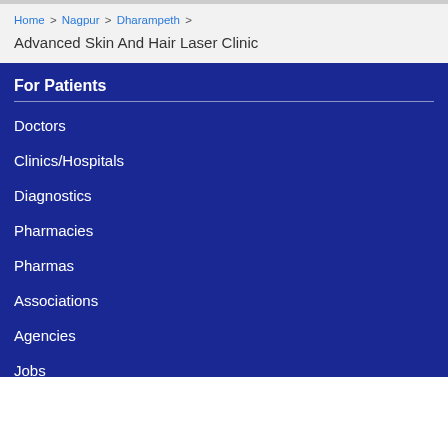Home > Nagpur > Dharampeth > Advanced Skin And Hair Laser Clinic
For Patients
Doctors
Clinics/Hospitals
Diagnostics
Pharmacies
Pharmas
Associations
Agencies
Jobs
Health Reference